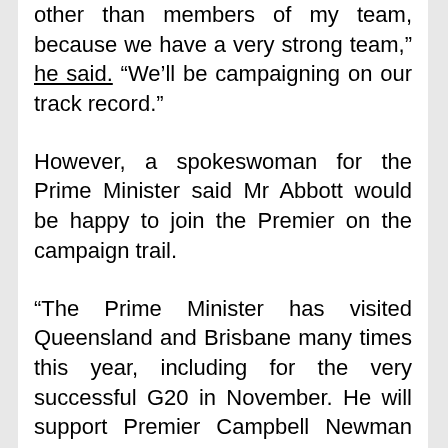other than members of my team, because we have a very strong team," he said. "We'll be campaigning on our track record."
However, a spokeswoman for the Prime Minister said Mr Abbott would be happy to join the Premier on the campaign trail.
"The Prime Minister has visited Queensland and Brisbane many times this year, including for the very successful G20 in November. He will support Premier Campbell Newman however he can in the lead-up to the Queensland election," she said.
On the campaign trail and speaking from a community cabinet meeting in far north Queensland, Premier Newman also stated that